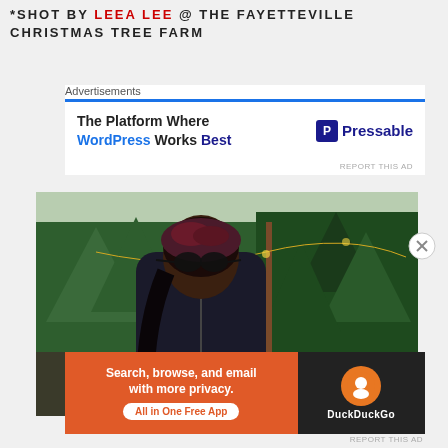*SHOT BY LEEA LEE @ THE FAYETTEVILLE CHRISTMAS TREE FARM
Advertisements
[Figure (screenshot): Advertisement for Pressable: 'The Platform Where WordPress Works Best' with blue bar and Pressable logo]
[Figure (photo): Woman wearing a floral headwrap and sunglasses standing in front of Christmas trees at a tree farm, wearing a dark jacket]
Advertisements
[Figure (screenshot): Advertisement for DuckDuckGo: 'Search, browse, and email with more privacy. All in One Free App' with orange background and DuckDuckGo logo on dark background]